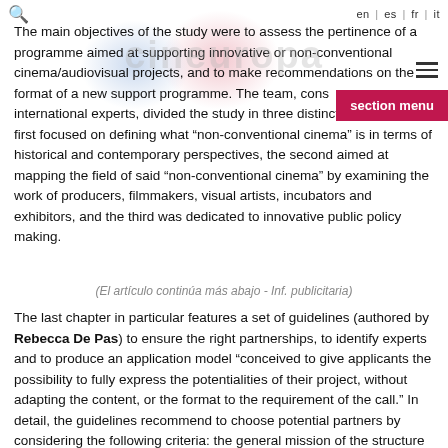en | es | fr | it
The main objectives of the study were to assess the pertinence of a programme aimed at supporting innovative or non-conventional cinema/audiovisual projects, and to make recommendations on the format of a new support programme. The team, cons[isting of] international experts, divided the study in three distinct chapters. The first focused on defining what “non-conventional cinema” is in terms of historical and contemporary perspectives, the second aimed at mapping the field of said “non-conventional cinema” by examining the work of producers, filmmakers, visual artists, incubators and exhibitors, and the third was dedicated to innovative public policy making.
(El artículo continúa más abajo - Inf. publicitaria)
The last chapter in particular features a set of guidelines (authored by Rebecca De Pas) to ensure the right partnerships, to identify experts and to produce an application model “conceived to give applicants the possibility to fully express the potentialities of their project, without adapting the content, or the format to the requirement of the call.” In detail, the guidelines recommend to choose potential partners by considering the following criteria: the general mission of the structure – with a mission to promote, foster and facilitate innovative and diverse cinematic works crossing genre boundaries and blending with other art forms; a proven